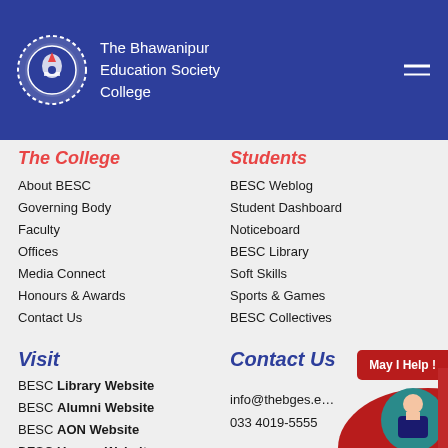The Bhawanipur Education Society College
The College
About BESC
Governing Body
Faculty
Offices
Media Connect
Honours & Awards
Contact Us
Students
BESC Weblog
Student Dashboard
Noticeboard
BESC Library
Soft Skills
Sports & Games
BESC Collectives
Visit
BESC Library Website
BESC Alumni Website
BESC AON Website
BESC Umang Website
BESC TEDx Website
Contact Us
info@thebges.e...
033 4019-5555